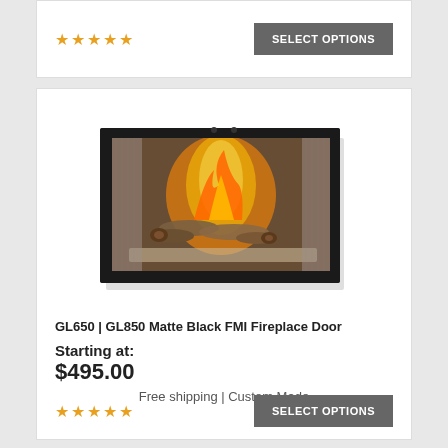[Figure (other): Five gold stars rating]
SELECT OPTIONS
[Figure (photo): GL650 | GL850 Matte Black FMI Fireplace Door product image showing a black-framed glass fireplace door with burning fire and logs visible inside]
GL650 | GL850 Matte Black FMI Fireplace Door
Starting at:
$495.00
Free shipping | Custom Made
[Figure (other): Five gold stars rating]
SELECT OPTIONS